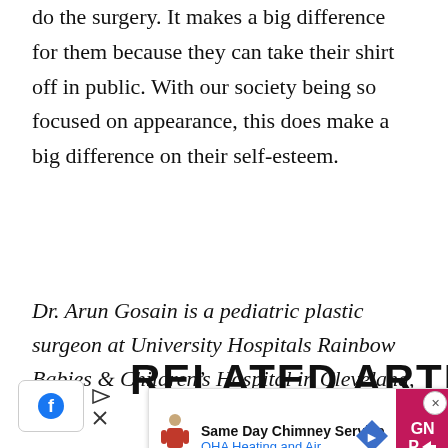do the surgery. It makes a big difference for them because they can take their shirt off in public. With our society being so focused on appearance, this does make a big difference on their self-esteem.
Dr. Arun Gosain is a pediatric plastic surgeon at University Hospitals Rainbow Babies & Children's Hospital in Cleveland, Ohio.
RELATED ARTICLES
[Figure (screenshot): Advertisement overlay: Same Day Chimney Service by OHA Heating and Air, with navigation arrow icon and pink GN/P signup button. Close X button visible top right of ad.]